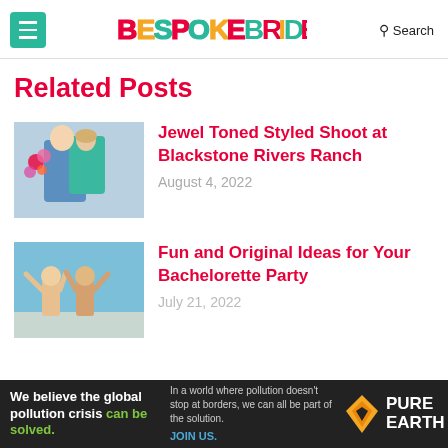BESPOKE BRIDE — Search
Related Posts
[Figure (photo): Wedding couple embracing outdoors, woman in teal off-shoulder gown, man in blue suit, colorful flowers]
Jewel Toned Styled Shoot at Blackstone Rivers Ranch
August 4, 2022
[Figure (photo): Two women at a sunny beach/rooftop bachelorette party with arms raised]
Fun and Original Ideas for Your Bachelorette Party
July 21, 2022
[Figure (other): Pure Earth advertisement banner — We believe the global pollution crisis can be solved. In a world where pollution doesn't stop at borders, we can all be part of the solution. JOIN US.]